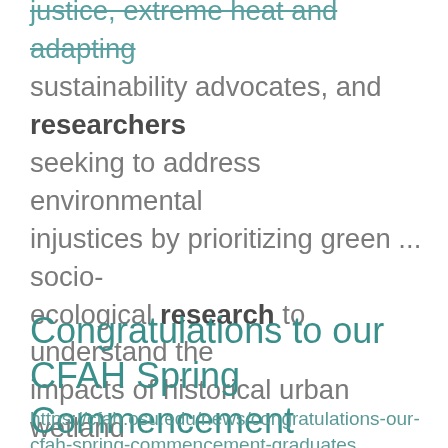justice, extreme heat and adapting sustainability advocates, and researchers seeking to address environmental injustices by prioritizing green ... socio-ecological research to understand the impacts of historical urban wetland management in low-income ... patterns in relation to local demographics. Eventually she carried her research to study communities and ...
Congratulations to our CFAH Spring Commencement graduates!
https://cfah.osu.edu/news/congratulations-our-cfah-spring-commencement-graduates